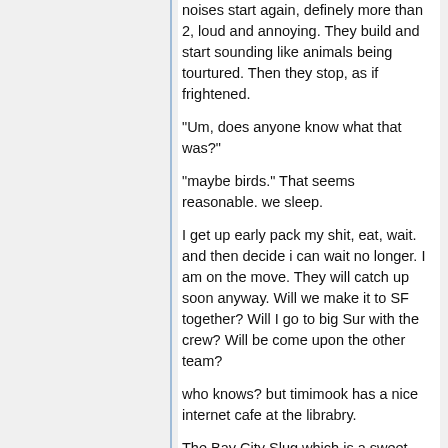noises start again, definely more than 2, loud and annoying. They build and start sounding like animals being tourtured. Then they stop, as if frightened.
"Um, does anyone know what that was?"
"maybe birds." That seems reasonable. we sleep.
I get up early pack my shit, eat, wait. and then decide i can wait no longer. I am on the move. They will catch up soon anyway. Will we make it to SF together? Will I go to big Sur with the crew? Will be come upon the other team?
who knows? but timimook has a nice internet cafe at the librabry.
The Bay City Slug which is a sweet weekly paper/zine. "The Paper that hates progress" and "tough, Absorband, Disposable" as well as several cut and